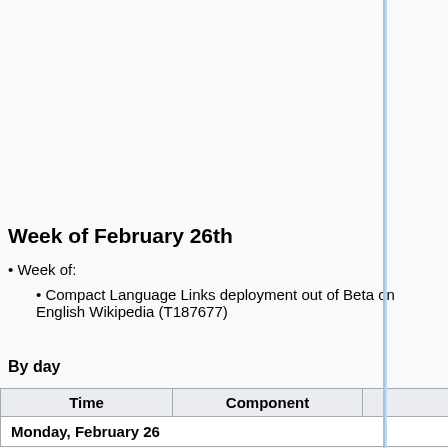| Time | Component | Deployer |
| --- | --- | --- |
| 01:00 UTC #
(Thu)
16:00–17:00 PST | Evening SWAT
(Max 8 patches) | (twentyafter
Roan
(RoanKattouw
Sébastien
(Dereckson),
(thcipriani)
Niharika (Niha
or Željko (zelj |
Week of February 26th
Week of:
Compact Language Links deployment out of Beta on English Wikipedia (T187677)
By day
| Time | Component | Deployer |
| --- | --- | --- |
| Monday, February 26 |  |  |